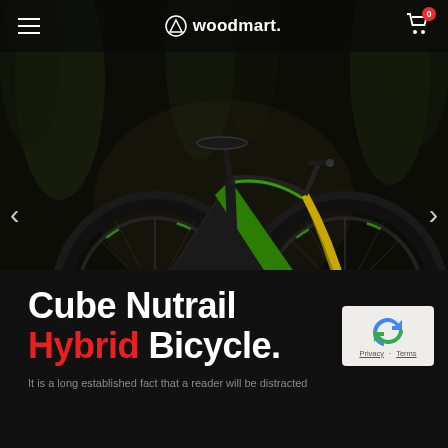woodmart.
[Figure (photo): Black and green Cube Nutrail hybrid electric mountain bicycle photographed against a dark forest background with trees. The bike features full suspension, wide tires, and vivid green accent markings on the frame and wheels.]
Cube Nutrail Hybrid Bicycle.
It is a long established fact that a reader will be distracted